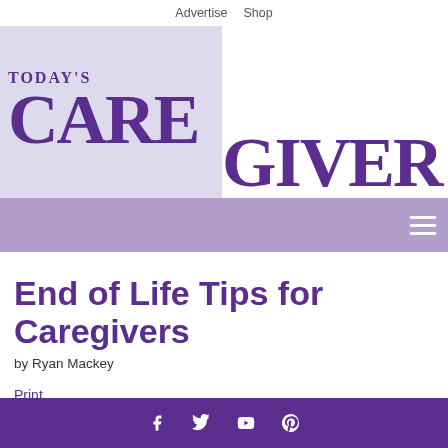Advertise  Shop
[Figure (logo): Today's Caregiver logo — purple serif text on a light lavender background for the left portion, continuing on white background]
[Figure (infographic): Purple navigation bar with white hamburger menu icon on the right]
End of Life Tips for Caregivers
by Ryan Mackey
Print
f  Twitter  YouTube  Pinterest social icons